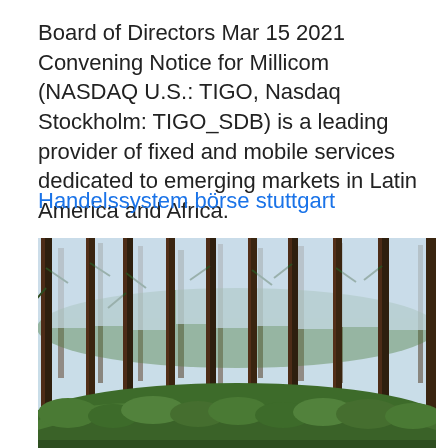Board of Directors Mar 15 2021 Convening Notice for Millicom (NASDAQ U.S.: TIGO, Nasdaq Stockholm: TIGO_SDB) is a leading provider of fixed and mobile services dedicated to emerging markets in Latin America and Africa.
Handelssystem börse stuttgart
[Figure (photo): A photograph of a pine forest with tall, slender trees and green undergrowth on the forest floor, with a light sky visible through the canopy.]